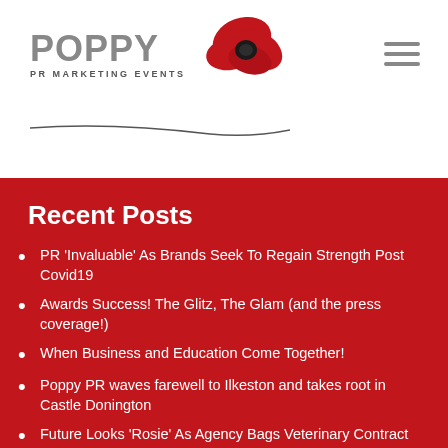[Figure (logo): Poppy PR Marketing Events logo with red poppy flower illustration and swoosh underline]
Recent Posts
PR ‘Invaluable’ As Brands Seek To Regain Strength Post Covid19
Awards Success! The Glitz, The Glam (and the press coverage!)
When Business and Education Come Together!
Poppy PR waves farewell to Ilkeston and takes root in Castle Donington
Future Looks ‘Rosie’ As Agency Bags Veterinary Contract